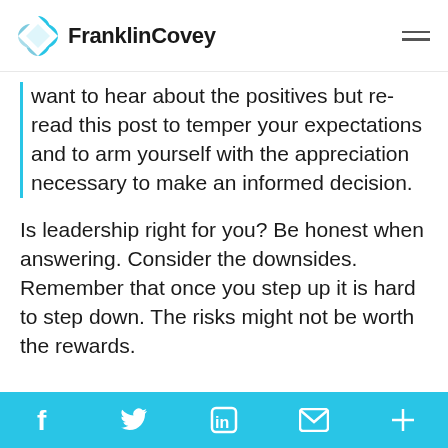FranklinCovey
want to hear about the positives but re-read this post to temper your expectations and to arm yourself with the appreciation necessary to make an informed decision.
Is leadership right for you? Be honest when answering. Consider the downsides. Remember that once you step up it is hard to step down. The risks might not be worth the rewards.
f  [twitter]  in  [mail]  +